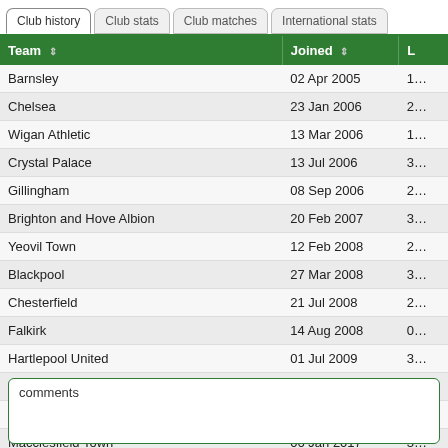Club history | Club stats | Club matches | International stats
| Team | Joined | L |
| --- | --- | --- |
| Barnsley | 02 Apr 2005 | 1… |
| Chelsea | 23 Jan 2006 | 2… |
| Wigan Athletic | 13 Mar 2006 | 1… |
| Crystal Palace | 13 Jul 2006 | 3… |
| Gillingham | 08 Sep 2006 | 2… |
| Brighton and Hove Albion | 20 Feb 2007 | 3… |
| Yeovil Town | 12 Feb 2008 | 2… |
| Blackpool | 27 Mar 2008 | 3… |
| Chesterfield | 21 Jul 2008 | 2… |
| Falkirk | 14 Aug 2008 | 0… |
| Hartlepool United | 01 Jul 2009 | 3… |
| York City | 01 Jul 2015 | 0… |
| Macclesfield Town | 20 Sep 2016 | 2… |
| Macclesfield Town | 06 Jan 2017 | 3… |
| Cheltenham Town | 31 Aug 2017 |  |
comments